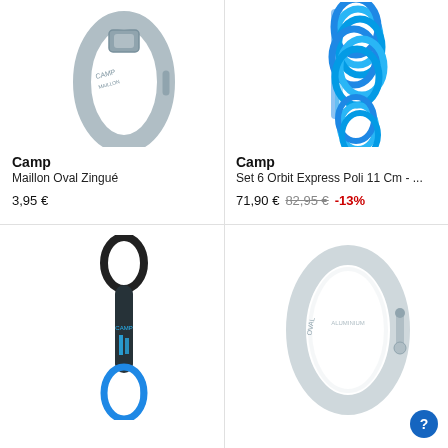[Figure (photo): Camp Maillon Oval Zingué carabiner - silver oval screw gate carabiner]
Camp
Maillon Oval Zingué
3,95 €
[Figure (photo): Camp Set 6 Orbit Express Poli 11 Cm - set of blue quickdraws]
Camp
Set 6 Orbit Express Poli 11 Cm - ...
71,90 € 82,95 € -13%
[Figure (photo): Black and blue quickdraw / express]
[Figure (photo): Silver oval carabiner - large aluminum oval carabiner]